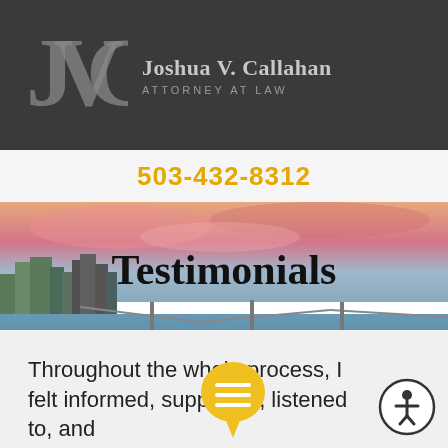[Figure (logo): JVC logo monogram in grey with stylized letters J, V, C]
Joshua V. Callahan ATTORNEY AT LAW
503-432-8312
[Figure (photo): Aerial panoramic photo of Portland Oregon skyline with bridges over the Willamette River, pink and golden sunset sky]
Testimonials
Throughout the whole process, I felt informed, supported, listened to, and